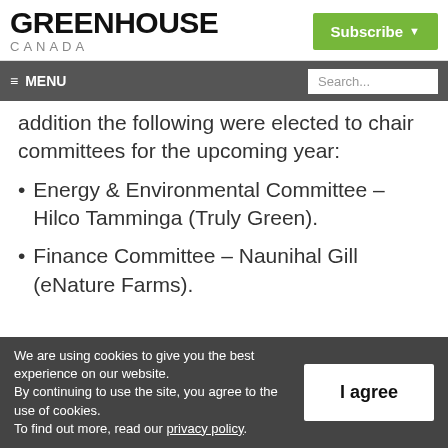GREENHOUSE CANADA
Subscribe
≡ MENU  Search...
addition the following were elected to chair committees for the upcoming year:
Energy & Environmental Committee – Hilco Tamminga (Truly Green).
Finance Committee – Naunihal Gill (eNature Farms).
We are using cookies to give you the best experience on our website. By continuing to use the site, you agree to the use of cookies. To find out more, read our privacy policy.